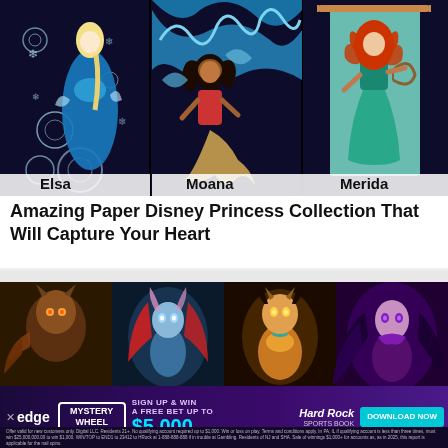[Figure (illustration): Three paper art Disney princesses side by side: Elsa (left, blue ice dress with snowflakes), Moana (center, ocean wave backdrop with grass skirt), Merida (right, teal dress with bow on banner). Each labeled with their name at the bottom.]
Amazing Paper Disney Princess Collection That Will Capture Your Heart
[Figure (illustration): Four fantasy/anime style character illustrations in a grid: a wolf-like character (top-left), a blue ethereal female character (top-center-left), an orange/gold armored female character (top-center-right), a purple fantasy female character (top-right). Below is an advertisement banner for Hard Rock Sports Book via Edge, promoting a Mystery Wheel sign-up bonus of $5,000.]